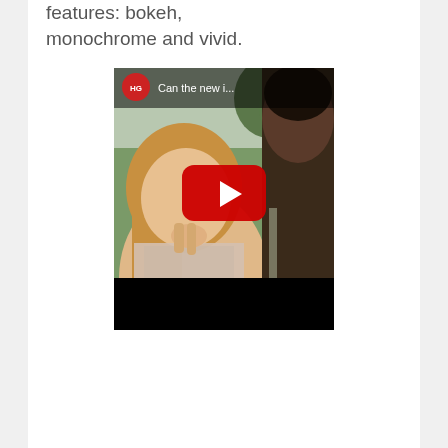features: bokeh, monochrome and vivid.
[Figure (screenshot): YouTube video thumbnail embedded in a webpage showing two people outdoors. The video player displays an HG channel logo (red circle with HG letters) and title 'Can the new i...' with a red YouTube play button in the center. The thumbnail shows a woman with auburn hair in the foreground and a man partially visible on the right, set against an outdoor background with trees and buildings.]